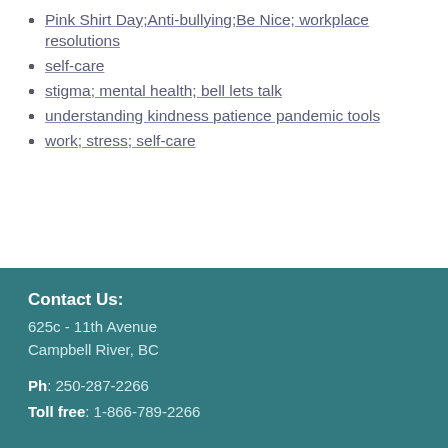Pink Shirt Day;Anti-bullying;Be Nice; workplace
resolutions
self-care
stigma; mental health; bell lets talk
understanding kindness patience pandemic tools
work; stress; self-care
Contact Us:
625c - 11th Avenue
Campbell River, BC

Ph: 250-287-2266
Toll free: 1-866-789-2266